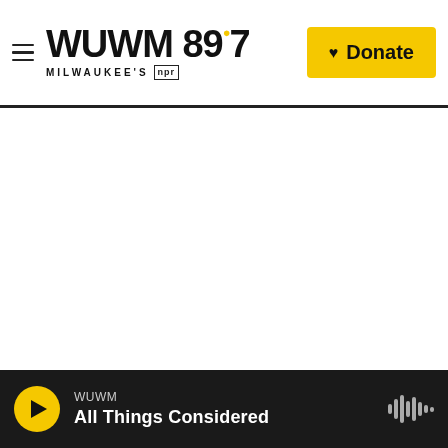WUWM 89.7 Milwaukee's NPR — Donate
WUWM — All Things Considered